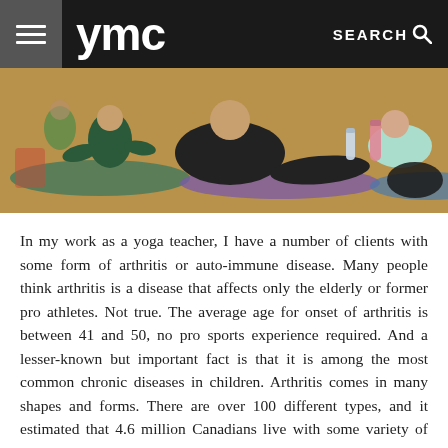ymc   SEARCH
[Figure (photo): Yoga class with multiple participants seated on mats on a gym floor, with water bottles and bags visible in the background.]
In my work as a yoga teacher, I have a number of clients with some form of arthritis or auto-immune disease. Many people think arthritis is a disease that affects only the elderly or former pro athletes. Not true. The average age for onset of arthritis is between 41 and 50, no pro sports experience required. And a lesser-known but important fact is that it is among the most common chronic diseases in children. Arthritis comes in many shapes and forms. There are over 100 different types, and it estimated that 4.6 million Canadians live with some variety of the disease. From conditions like osteoarthritis to lupus to rheumatoid arthritis, the symptoms can range from mild to severe. But all have an effect on daily